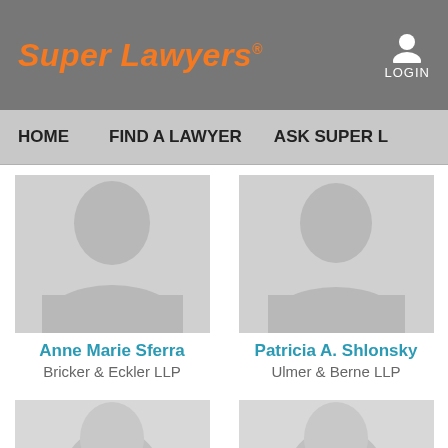Super Lawyers® | LOGIN
HOME | FIND A LAWYER | ASK SUPER L...
[Figure (photo): Placeholder silhouette photo for Anne Marie Sferra]
Anne Marie Sferra
Bricker & Eckler LLP
[Figure (photo): Placeholder silhouette photo for Patricia A. Shlonsky]
Patricia A. Shlonsky
Ulmer & Berne LLP
[Figure (photo): Placeholder silhouette photo (third lawyer, partial)]
[Figure (photo): Placeholder silhouette photo (fourth lawyer, partial)]